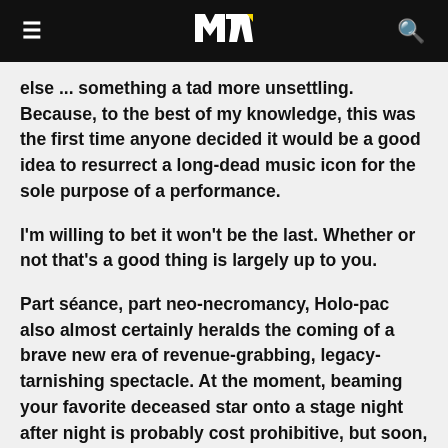MTV
else ... something a tad more unsettling. Because, to the best of my knowledge, this was the first time anyone decided it would be a good idea to resurrect a long-dead music icon for the sole purpose of a performance.
I'm willing to bet it won't be the last. Whether or not that's a good thing is largely up to you.
Part séance, part neo-necromancy, Holo-pac also almost certainly heralds the coming of a brave new era of revenue-grabbing, legacy-tarnishing spectacle. At the moment, beaming your favorite deceased star onto a stage night after night is probably cost prohibitive, but soon, it won't be. And once that final hurdle falls, how long until every hotel in Las Vegas is lining up their own digital Elvis Presleys, Michael Jacksons or John